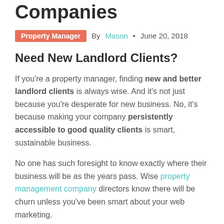Companies
Property Manager · By Mason · June 20, 2018
Need New Landlord Clients?
If you're a property manager, finding new and better landlord clients is always wise. And it's not just because you're desperate for new business. No, it's because making your company persistently accessible to good quality clients is smart, sustainable business.
No one has such foresight to know exactly where their business will be as the years pass. Wise property management company directors know there will be churn unless you've been smart about your web marketing.
Landlords can be an elusive and hard to convince audience - your web marketing must be credible